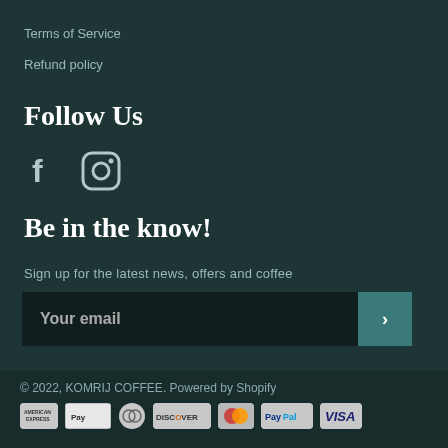Terms of Service
Refund policy
Follow Us
[Figure (illustration): Facebook and Instagram social media icons]
Be in the know!
Sign up for the latest news, offers and coffee
Your email (input field with submit button)
© 2022, KOMRIJ COFFEE. Powered by Shopify
[Figure (logo): Payment method icons: American Express, Apple Pay, Diners Club, Discover, MasterCard, PayPal, Visa]